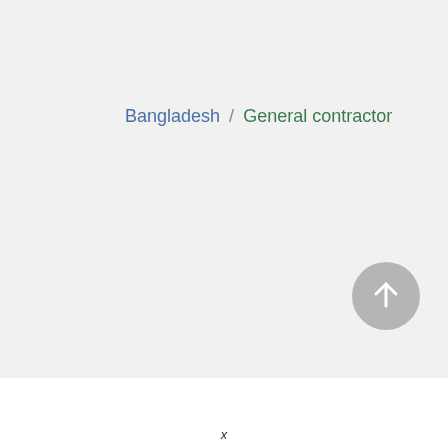Bangladesh / General contractor
[Figure (other): Circular scroll-to-top button with upward arrow, grey background]
x